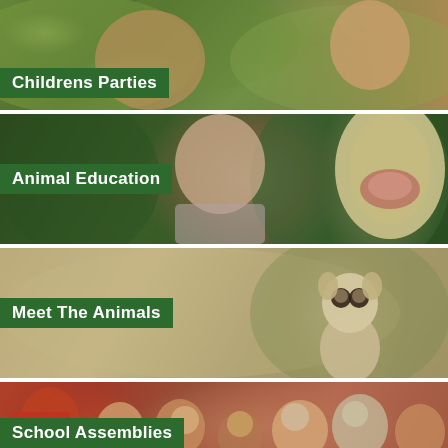[Figure (photo): Child looking at animals with foliage in background]
Childrens Parties
[Figure (photo): Man with open-mouthed snake/cobra in green background]
Animal Education
[Figure (photo): Meerkat standing upright against natural background]
Meet The Animals
[Figure (photo): Group of children seated together at school assembly]
School Assemblies